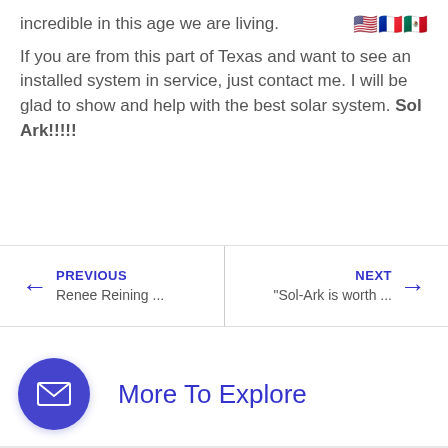incredible in this age we are living.
[Figure (illustration): Three flag emoji icons: USA flag, French flag, Mexican flag]
If you are from this part of Texas and want to see an installed system in service, just contact me. I will be glad to show and help with the best solar system. Sol Ark!!!!!
← PREVIOUS
Renee Reining ...
NEXT →
"Sol-Ark is worth ...
More To Explore
[Figure (illustration): Purple circular button with white envelope/mail icon]